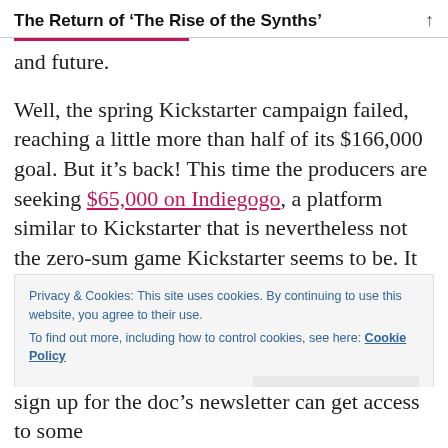The Return of ‘The Rise of the Synths’
and future.
Well, the spring Kickstarter campaign failed, reaching a little more than half of its $166,000 goal. But it’s back! This time the producers are seeking $65,000 on Indiegogo, a platform similar to Kickstarter that is nevertheless not the zero-sum game Kickstarter seems to be. It also appears that filmmakers Ivan Castell and Javi Moreno have some institutional backing from the
Privacy & Cookies: This site uses cookies. By continuing to use this website, you agree to their use.
To find out more, including how to control cookies, see here: Cookie Policy
sign up for the doc’s newsletter can get access to some